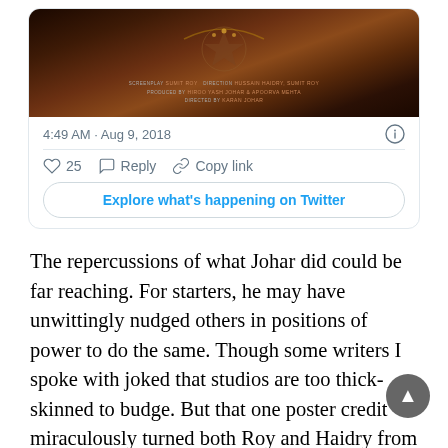[Figure (screenshot): Tweet card showing movie poster image (dark brown/gold tones with credits text: screenplay SUMIT ROY direction HUSSAIN HAIDRY, SUMIT ROY, produced by HIROO YASH JOHAR & APOORVA MEHTA, directed by KARAN JOHAR), timestamp 4:49 AM · Aug 9, 2018, like count 25, Reply, Copy link actions, and an Explore what's happening on Twitter button]
The repercussions of what Johar did could be far reaching. For starters, he may have unwittingly nudged others in positions of power to do the same. Though some writers I spoke with joked that studios are too thick-skinned to budge. But that one poster credit miraculously turned both Roy and Haidry from faceless writers to 'the guys writing Dharma's next big film'. Both are not entirely new to the industry